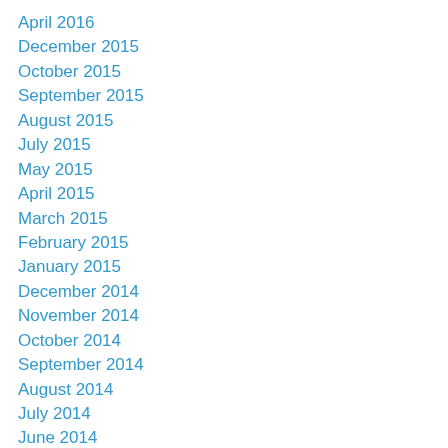April 2016
December 2015
October 2015
September 2015
August 2015
July 2015
May 2015
April 2015
March 2015
February 2015
January 2015
December 2014
November 2014
October 2014
September 2014
August 2014
July 2014
June 2014
May 2014
April 2014